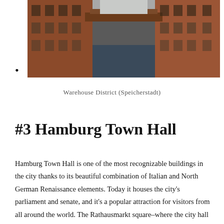[Figure (photo): Photograph of the Warehouse District (Speicherstadt) in Hamburg, showing a canal flanked by tall red-brick warehouse buildings with a bridge overhead.]
•
Warehouse District (Speicherstadt)
#3 Hamburg Town Hall
Hamburg Town Hall is one of the most recognizable buildings in the city thanks to its beautiful combination of Italian and North German Renaissance elements. Today it houses the city's parliament and senate, and it's a popular attraction for visitors from all around the world. The Rathausmarkt square–where the city hall is located–hosts various concerts, fairs and events, as well as the famous Christmas markets every year.